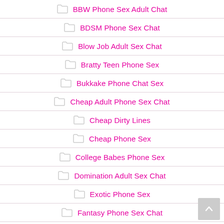BBW Phone Sex Adult Chat
BDSM Phone Sex Chat
Blow Job Adult Sex Chat
Bratty Teen Phone Sex
Bukkake Phone Chat Sex
Cheap Adult Phone Sex Chat
Cheap Dirty Lines
Cheap Phone Sex
College Babes Phone Sex
Domination Adult Sex Chat
Exotic Phone Sex
Fantasy Phone Sex Chat